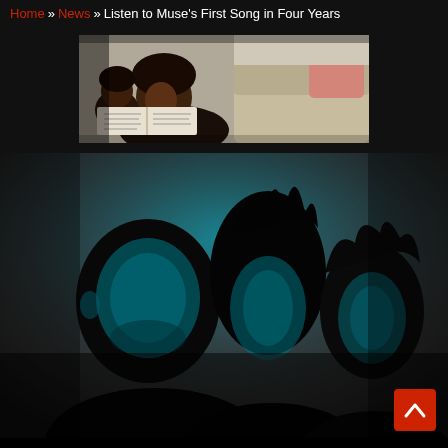Home » News » Listen to Muse's First Song in Four Years
[Figure (photo): Advertisement banner showing a man and child reading together on a couch, promotional image]
[Figure (photo): Three members of the band Muse photographed in dramatic blue lighting against a dark background]